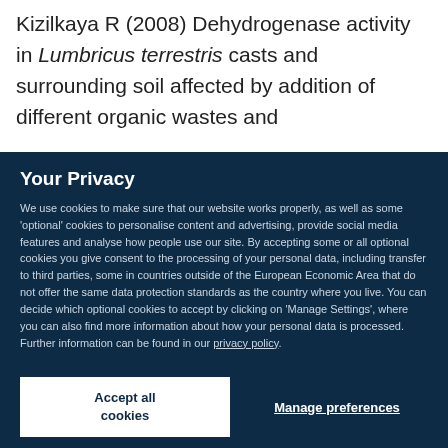Kizilkaya R (2008) Dehydrogenase activity in Lumbricus terrestris casts and surrounding soil affected by addition of different organic wastes and
Your Privacy
We use cookies to make sure that our website works properly, as well as some 'optional' cookies to personalise content and advertising, provide social media features and analyse how people use our site. By accepting some or all optional cookies you give consent to the processing of your personal data, including transfer to third parties, some in countries outside of the European Economic Area that do not offer the same data protection standards as the country where you live. You can decide which optional cookies to accept by clicking on 'Manage Settings', where you can also find more information about how your personal data is processed. Further information can be found in our privacy policy.
Accept all cookies
Manage preferences